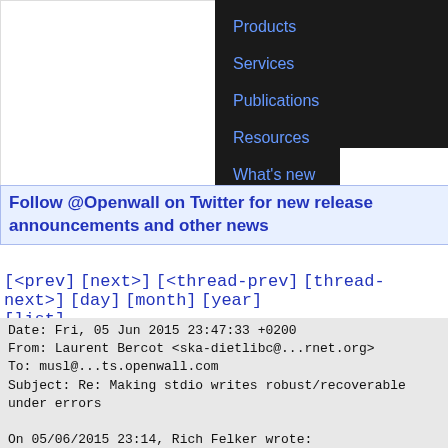[Figure (screenshot): Website navigation header with logo area on left and dark navigation menu on right showing: Products, Services, Publications, Resources, What's new]
Follow @Openwall on Twitter for new release announcements and other news
[<prev] [next>] [<thread-prev] [thread-next>] [day] [month] [year] [list]
Date: Fri, 05 Jun 2015 23:47:33 +0200
From: Laurent Bercot <ska-dietlibc@...rnet.org>
To: musl@...ts.openwall.com
Subject: Re: Making stdio writes robust/recoverable under errors

On 05/06/2015 23:14, Rich Felker wrote:
> I'm a bit undecided on whether to move forward with this or not. While
> there's some benefit to being able to resume/recover transient errors
> that occur during buffered writing, there are also